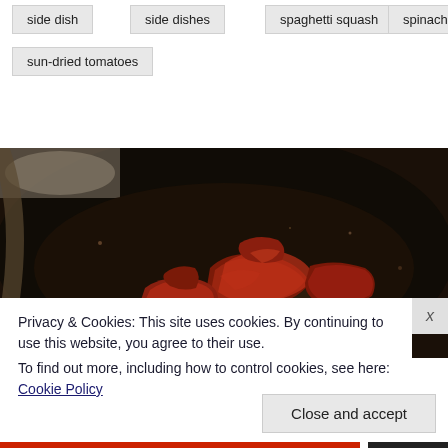side dish
side dishes
spaghetti squash
spinach
sun-dried tomatoes
[Figure (photo): Glazed chicken wings or meat cooking in a dark cast-iron skillet, showing caramelized sauce.]
Privacy & Cookies: This site uses cookies. By continuing to use this website, you agree to their use.
To find out more, including how to control cookies, see here: Cookie Policy
Close and accept